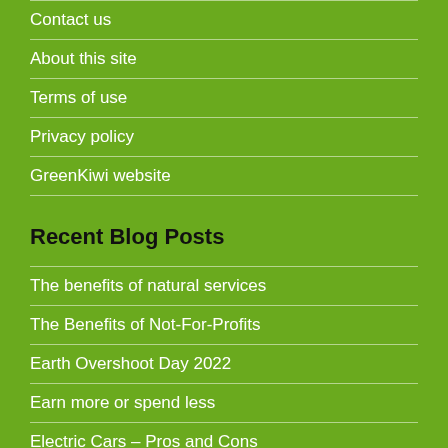Contact us
About this site
Terms of use
Privacy policy
GreenKiwi website
Recent Blog Posts
The benefits of natural services
The Benefits of Not-For-Profits
Earth Overshoot Day 2022
Earn more or spend less
Electric Cars – Pros and Cons
Be kind